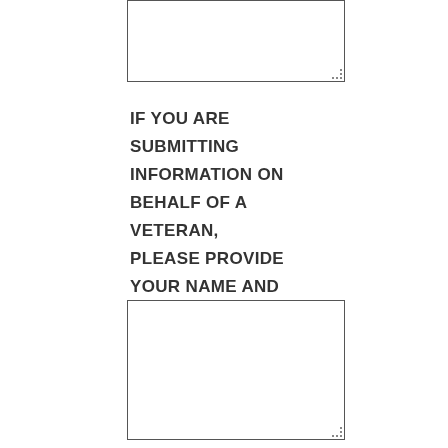[Figure (other): Empty text input box at top of page]
IF YOU ARE SUBMITTING INFORMATION ON BEHALF OF A VETERAN, PLEASE PROVIDE YOUR NAME AND RELATIONSHIP TO VETERAN
[Figure (other): Empty text input box at bottom of page]